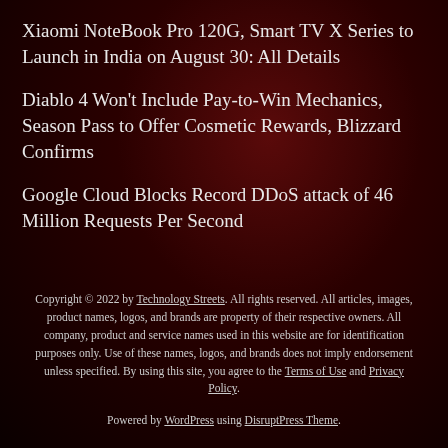Xiaomi NoteBook Pro 120G, Smart TV X Series to Launch in India on August 30: All Details
Diablo 4 Won't Include Pay-to-Win Mechanics, Season Pass to Offer Cosmetic Rewards, Blizzard Confirms
Google Cloud Blocks Record DDoS attack of 46 Million Requests Per Second
Copyright © 2022 by Technology Streets. All rights reserved. All articles, images, product names, logos, and brands are property of their respective owners. All company, product and service names used in this website are for identification purposes only. Use of these names, logos, and brands does not imply endorsement unless specified. By using this site, you agree to the Terms of Use and Privacy Policy.
Powered by WordPress using DisruptPress Theme.